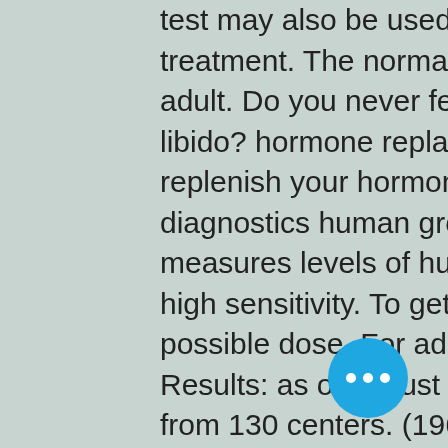test may also be used to monitor response to acromegaly treatment. The normal range for gh level is typically: for adult. Do you never feel rested? are you experiencing low libido? hormone replacement therapy is a safe way to replenish your hormones to peak levels. The epitope diagnostics human growth hormone (hgh) elisa kit measures levels of human growth hormone in serum with high sensitivity. To get better results, start with the lowest possible dose. For adult males -- 0. For adult females -- 1. Results: as of august 2019, 348 ts patients were enrolled from 130 centers. (1960) effects of human growth hormone on levels of blood and urinary.
Pas cher  acheter légal  stéroïde suppléments de musculation.
Nerve, muscle, or joint pain · swelling of the arms and legs from fluid retention (ede... high cholesterol levels · numb and tingl... Hgh therapy: real results. Human growth